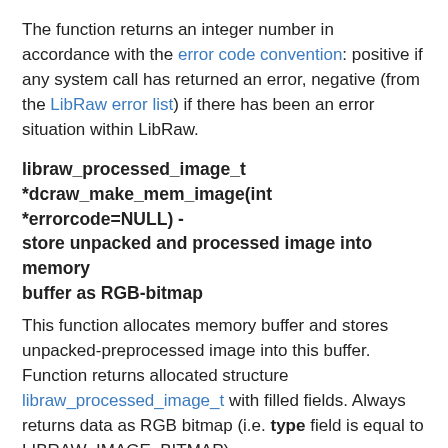The function returns an integer number in accordance with the error code convention: positive if any system call has returned an error, negative (from the LibRaw error list) if there has been an error situation within LibRaw.
libraw_processed_image_t *dcraw_make_mem_image(int *errorcode=NULL) - store unpacked and processed image into memory buffer as RGB-bitmap
This function allocates memory buffer and stores unpacked-preprocessed image into this buffer. Function returns allocated structure libraw_processed_image_t with filled fields. Always returns data as RGB bitmap (i.e. type field is equal to LIBRAW_IMAGE_BITMAP).
dcraw_process() should be called before dcraw_make_mem_image();
Returns NULL in case of an error. If caller has passed not-NULL...